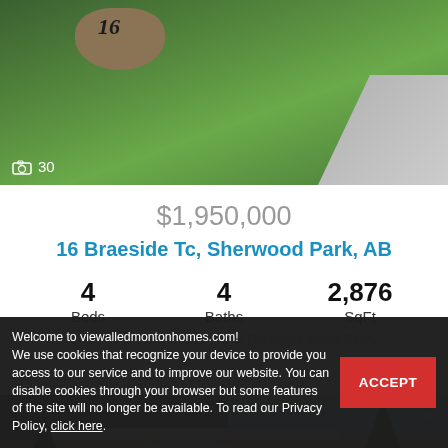[Figure (photo): Exterior photo of property showing a green lawn with a number 16 rock marker and driveway, with a camera icon and count of 30 photos]
$1,950,000
16 Braeside Tc, Sherwood Park, AB
4 Beds   4 Baths   2,876 SqFt
Courtesy of Deborah Schindel of Fairsquare Group Realty
[Figure (photo): Exterior photo of house with white roof/trim, brick accents, trees on both sides, and a heart/favorite icon in the upper right]
Welcome to viewalledmontonhomes.com! We use cookies that recognize your device to provide you access to our service and to improve our website. You can disable cookies through your browser but some features of the site will no longer be available. To read our Privacy Policy, click here.